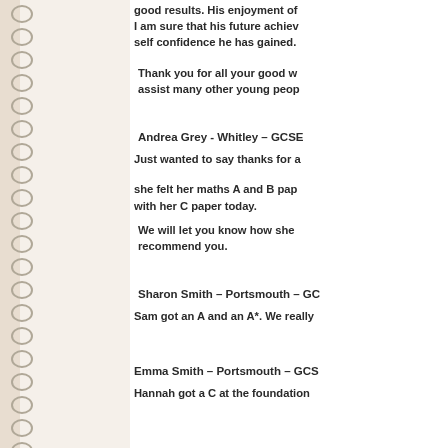good results. His enjoyment of I am sure that his future achiev self confidence he has gained.
Thank you for all your good w assist many other young peop
Andrea Grey - Whitley – GCSE
Just wanted to say thanks for a
she felt her maths A and B pap with her C paper today.
We will let you know how she recommend you.
Sharon Smith – Portsmouth – GC
Sam got an A and an A*. We really
Emma Smith – Portsmouth – GCS
Hannah got a C at the foundation